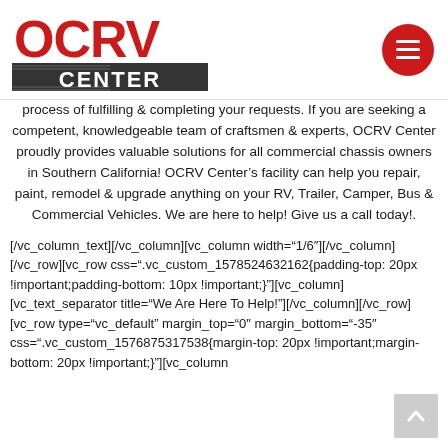OCRV CENTER logo and menu button
process of fulfilling & completing your requests. If you are seeking a competent, knowledgeable team of craftsmen & experts, OCRV Center proudly provides valuable solutions for all commercial chassis owners in Southern California! OCRV Center’s facility can help you repair, paint, remodel & upgrade anything on your RV, Trailer, Camper, Bus & Commercial Vehicles. We are here to help! Give us a call today!.
[/vc_column_text][/vc_column][vc_column width="1/6″][/vc_column][/vc_row][vc_row css=".vc_custom_1578524632162{padding-top: 20px !important;padding-bottom: 10px !important;}"][vc_column][vc_text_separator title="We Are Here To Help!"][/vc_column][/vc_row][vc_row type="vc_default" margin_top="0″ margin_bottom="-35″ css=".vc_custom_1576875317538{margin-top: 20px !important;margin-bottom: 20px !important;}"][vc_column